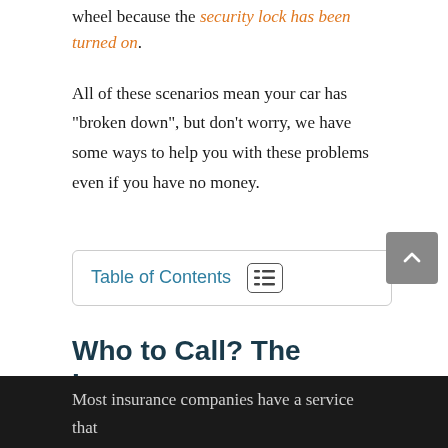wheel because the security lock has been turned on.
All of these scenarios mean your car has “broken down”, but don’t worry, we have some ways to help you with these problems even if you have no money.
Table of Contents
Who to Call? The Insurance Company
Most insurance companies have a service that will come help you out no matter where you are